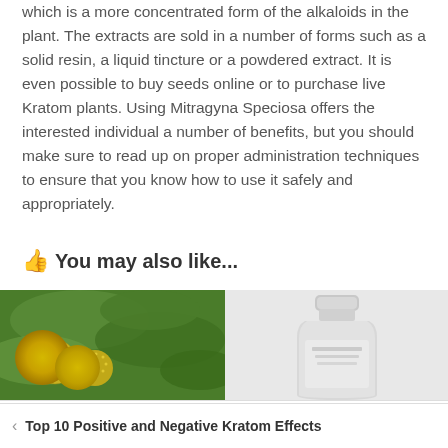which is a more concentrated form of the alkaloids in the plant. The extracts are sold in a number of forms such as a solid resin, a liquid tincture or a powdered extract. It is even possible to buy seeds online or to purchase live Kratom plants. Using Mitragyna Speciosa offers the interested individual a number of benefits, but you should make sure to read up on proper administration techniques to ensure that you know how to use it safely and appropriately.
👍 You may also like...
[Figure (photo): Photo of Kratom plant with spiky yellow-green flowers and broad green leaves]
[Figure (photo): Photo of a white supplement/kratom bottle, partially visible]
The Kratom Herb: A Natural Remedy to Replace Prescri...
Top 10 Positive and Negative Kratom Effects